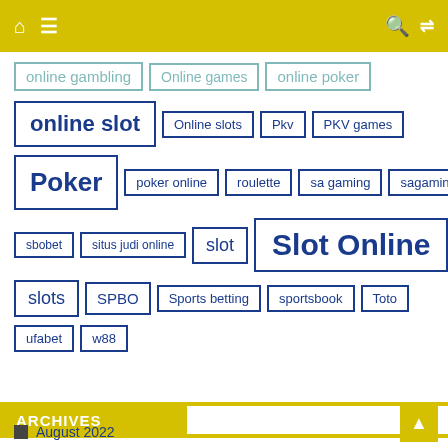Home Menu Search Shuffle
online gambling
Online games
online poker
online slot
Online slots
Pkv
PKV games
Poker
poker online
roulette
sa gaming
sagaming
sbobet
situs judi online
slot
Slot Online
slots
SPBO
Sports betting
sportsbook
Toto
ufabet
w88
ARCHIVES
August 2022